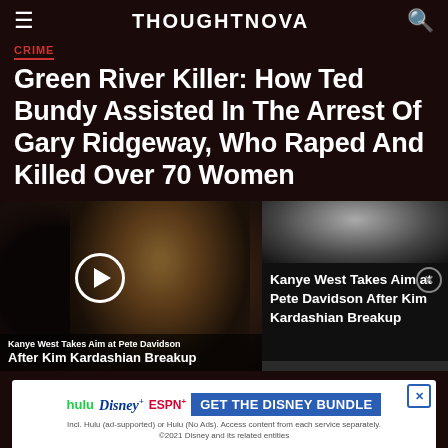THOUGHTNOVA
Crime
Green River Killer: How Ted Bundy Assisted In The Arrest Of Gary Ridgeway, Who Raped And Killed Over 70 Women
[Figure (screenshot): Split media area: left side shows a video thumbnail of two people at a basketball game with a play button overlay and caption 'Kanye West Takes Aim at Pete Davidson After Kim Kardashian Breakup'; right side shows a panel with a black-and-white image, close button, and text 'Kanye West Takes Aim at Pete Davidson After Kim Kardashian Breakup']
[Figure (screenshot): Disney Bundle advertisement banner showing hulu, Disney+, ESPN+ logos and 'GET THE DISNEY BUNDLE' call to action with fine print: 'Incl. Hulu (ad-supported) or Hulu (No Ads). Access content from each service separately. ©2021 Disney and its related entities']